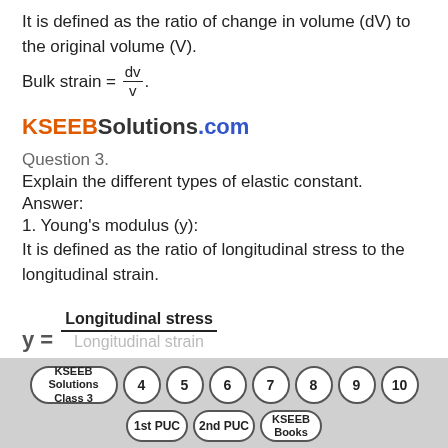It is defined as the ratio of change in volume (dV) to the original volume (V).
KSEEBSolutions.com
Question 3.
Explain the different types of elastic constant.
Answer:
1. Young's modulus (y):
It is defined as the ratio of longitudinal stress to the longitudinal strain.
[Figure (other): Navigation bar with page links: KSEEB Solutions Class 3, 4, 5, 6, 7, 8, 9, 10, 1st PUC, 2nd PUC, KSEEB Books]